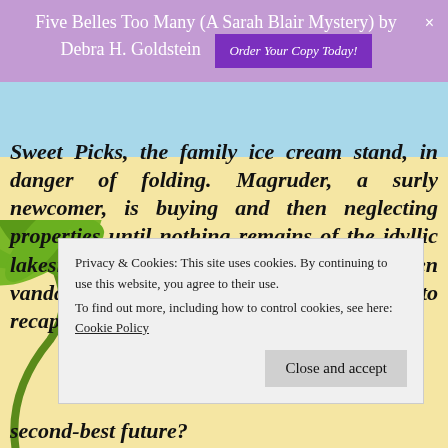Five Belles Too Many (A Sarah Blair Mystery) by Debra H. Goldstein  Order Your Copy Today!
Sweet Picks, the family ice cream stand, in danger of folding. Magruder, a surly newcomer, is buying and then neglecting properties until nothing remains of the idyllic lakeside community she remembers. When vandals target Sweet Picks, Retta's dreams to recapture
[Figure (illustration): Cookie and privacy notice banner overlay with 'Close and accept' button]
second-best future?